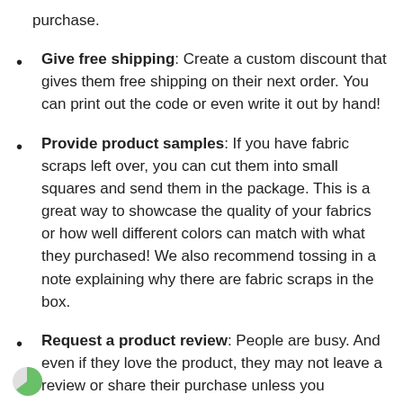purchase.
Give free shipping: Create a custom discount that gives them free shipping on their next order. You can print out the code or even write it out by hand!
Provide product samples: If you have fabric scraps left over, you can cut them into small squares and send them in the package. This is a great way to showcase the quality of your fabrics or how well different colors can match with what they purchased! We also recommend tossing in a note explaining why there are fabric scraps in the box.
Request a product review: People are busy. And even if they love the product, they may not leave a review or share their purchase unless you